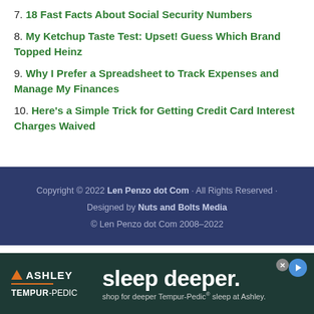7. 18 Fast Facts About Social Security Numbers
8. My Ketchup Taste Test: Upset! Guess Which Brand Topped Heinz
9. Why I Prefer a Spreadsheet to Track Expenses and Manage My Finances
10. Here's a Simple Trick for Getting Credit Card Interest Charges Waived
Copyright © 2022 Len Penzo dot Com · All Rights Reserved · Designed by Nuts and Bolts Media © Len Penzo dot Com 2008–2022
[Figure (other): Ashley Tempur-Pedic advertisement banner: sleep deeper. shop for deeper Tempur-Pedic sleep at Ashley.]